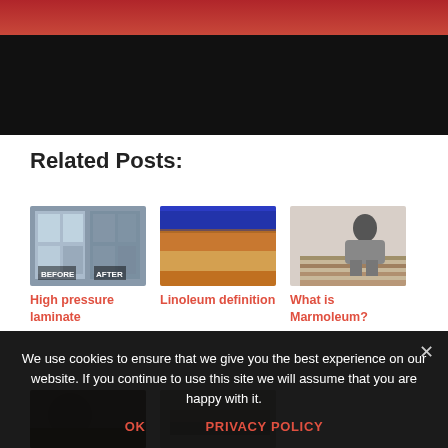[Figure (photo): Top banner image showing a person in red clothing at top, with a large black area below (partially cropped video or image).]
Related Posts:
[Figure (photo): Image of a window before and after, with BEFORE and AFTER labels. Gray exterior wall with white window frames.]
High pressure laminate
[Figure (photo): Layered cross-section image of linoleum flooring showing blue top layer, beige/wood-colored middle layer, and golden/orange bottom layer.]
Linoleum definition
[Figure (photo): Woman installing Marmoleum flooring, kneeling down and placing plank flooring.]
What is Marmoleum?
[Figure (photo): Partially visible thumbnail images at the bottom of the page.]
We use cookies to ensure that we give you the best experience on our website. If you continue to use this site we will assume that you are happy with it.
OK
PRIVACY POLICY